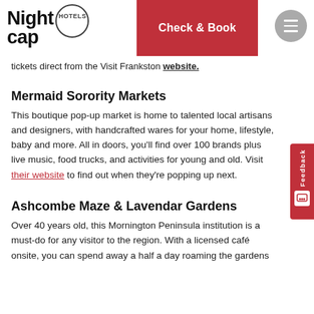[Figure (logo): Nightcap Hotels logo with circle and text]
tickets direct from the Visit Frankston website.
Mermaid Sorority Markets
This boutique pop-up market is home to talented local artisans and designers, with handcrafted wares for your home, lifestyle, baby and more. All in doors, you'll find over 100 brands plus live music, food trucks, and activities for young and old. Visit their website to find out when they're popping up next.
Ashcombe Maze & Lavendar Gardens
Over 40 years old, this Mornington Peninsula institution is a must-do for any visitor to the region. With a licensed café onsite, you can spend away a half a day roaming the gardens